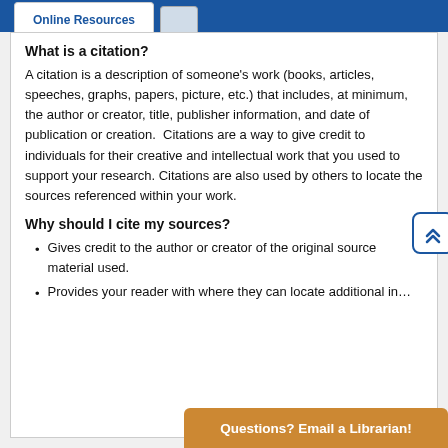Online Resources
What is a citation?
A citation is a description of someone's work (books, articles, speeches, graphs, papers, picture, etc.) that includes, at minimum, the author or creator, title, publisher information, and date of publication or creation.  Citations are a way to give credit to individuals for their creative and intellectual work that you used to support your research. Citations are also used by others to locate the sources referenced within your work.
Why should I cite my sources?
Gives credit to the author or creator of the original source material used.
Provides your reader with where they can locate additional information...